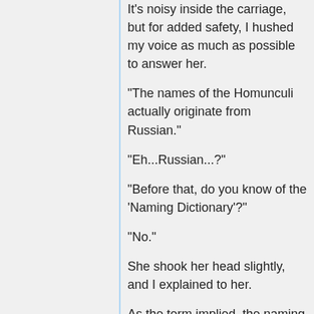It's noisy inside the carriage, but for added safety, I hushed my voice as much as possible to answer her.
“The names of the Homunculi actually originate from Russian.”
“Eh...Russian...?”
“Before that, do you know of the 'Naming Dictionary'?”
“No.”
She shook her head slightly, and I explained to her.
As the term implied, the naming dictionary is a dictionary for names.
It records all sorts of terms in languages of more than 10 countries, marketed as 'Convenient for naming products, companies and shops'.
The first column's basically English,